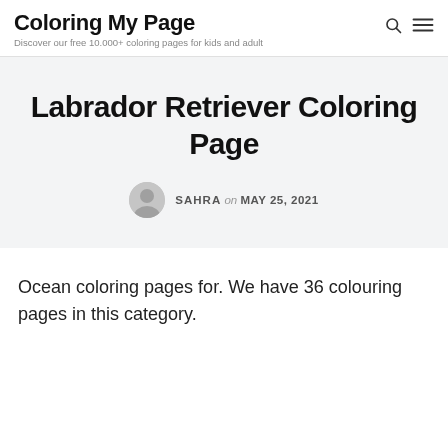Coloring My Page — Discover our free 10.000+ coloring pages for kids and adult
Labrador Retriever Coloring Page
SAHRA on MAY 25, 2021
Ocean coloring pages for. We have 36 colouring pages in this category.